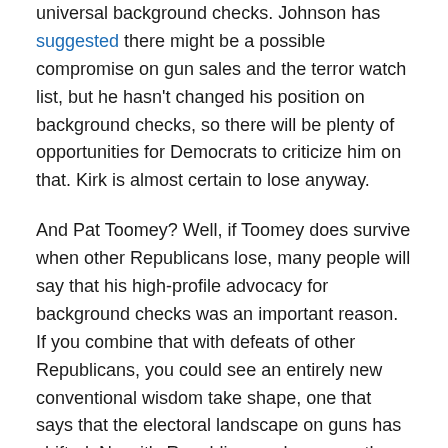universal background checks. Johnson has suggested there might be a possible compromise on gun sales and the terror watch list, but he hasn't changed his position on background checks, so there will be plenty of opportunities for Democrats to criticize him on that. Kirk is almost certain to lose anyway.
And Pat Toomey? Well, if Toomey does survive when other Republicans lose, many people will say that his high-profile advocacy for background checks was an important reason. If you combine that with defeats of other Republicans, you could see an entirely new conventional wisdom take shape, one that says that the electoral landscape on guns has shifted. Now it's Republicans who are on the defensive, because of their doctrinaire opposition to even measures that nine out of ten Americans support.